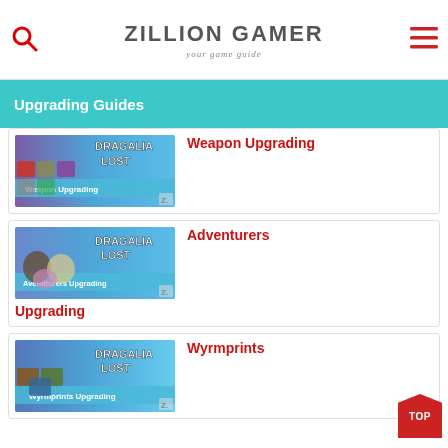ZILLION GAMER your game guide
Upgrading Guides
[Figure (screenshot): Dragalia Lost Weapon Upgrading thumbnail]
Weapon Upgrading
[Figure (screenshot): Dragalia Lost Adventurers Upgrading thumbnail]
Adventurers Upgrading
[Figure (screenshot): Dragalia Lost Wyrmprints Upgrading thumbnail]
Wyrmprints